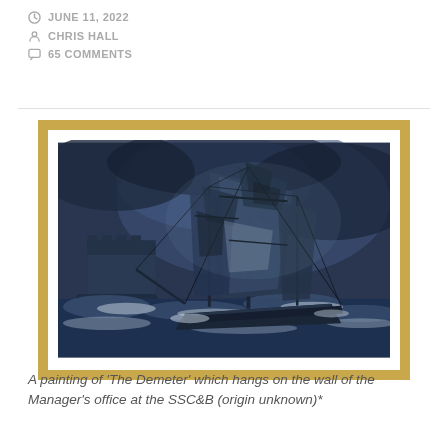JUNE 11, 2022
CHRIS HALL
65 COMMENTS
[Figure (illustration): A painting of a tall sailing ship in stormy dark blue seas, with a castle on a cliff in the background. The ship has large dark sails and is riding rough waves. The painting is framed with a gold border and white mat.]
A painting of ‘The Demeter’ which hangs on the wall of the Manager’s office at the SSC&B (origin unknown)*